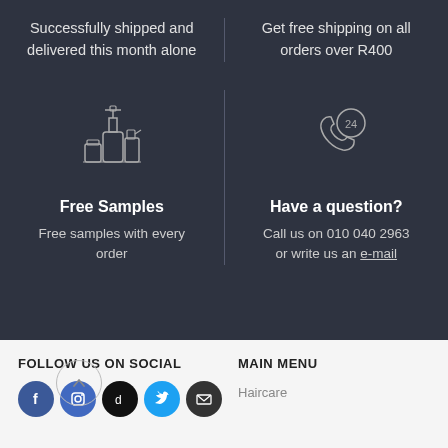Successfully shipped and delivered this month alone
Get free shipping on all orders over R400
[Figure (illustration): Icon of cosmetic/beauty product bottles (pump bottle, jar, spray bottle)]
[Figure (illustration): Icon of a phone handset with '24' badge indicating 24-hour support]
Free Samples
Have a question?
Free samples with every order
Call us on 010 040 2963 or write us an e-mail
FOLLOW US ON SOCIAL
MAIN MENU
Haircare